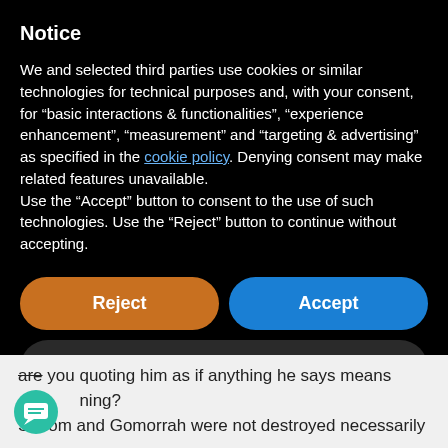Notice
We and selected third parties use cookies or similar technologies for technical purposes and, with your consent, for “basic interactions & functionalities”, “experience enhancement”, “measurement” and “targeting & advertising” as specified in the cookie policy. Denying consent may make related features unavailable.
Use the “Accept” button to consent to the use of such technologies. Use the “Reject” button to continue without accepting.
Reject
Accept
Learn more and customize
are you quoting him as if anything he says means hing?
Sodom and Gomorrah were not destroyed necessarily